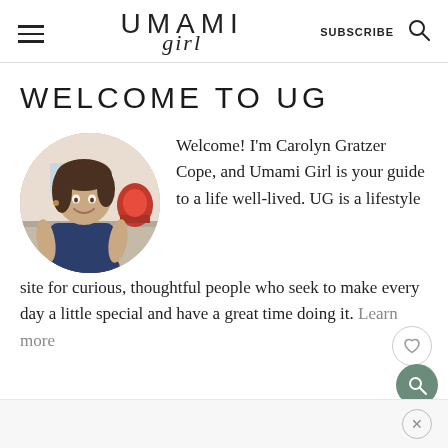UMAMI girl — SUBSCRIBE
WELCOME TO UG
[Figure (photo): Circular profile photo of Carolyn Gratzer Cope, a woman with dark hair in a navy top, standing in a kitchen with a red KitchenAid mixer in the background.]
Welcome! I'm Carolyn Gratzer Cope, and Umami Girl is your guide to a life well-lived. UG is a lifestyle site for curious, thoughtful people who seek to make every day a little special and have a great time doing it. Learn more